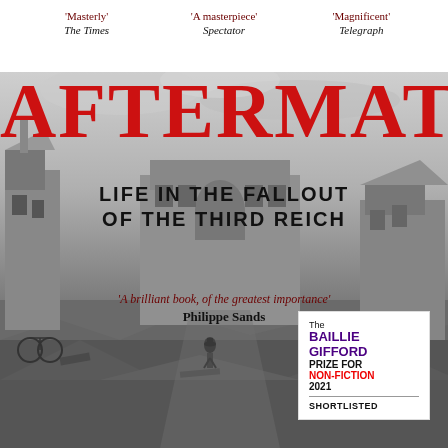'Masterly' The Times   'A masterpiece' Spectator   'Magnificent' Telegraph
AFTERMATH
LIFE IN THE FALLOUT OF THE THIRD REICH
'A brilliant book, of the greatest importance' Philippe Sands
[Figure (photo): Black and white photograph of bombed-out ruins of a city, with a lone figure walking among rubble and destroyed buildings under a grey sky]
The BAILLIE GIFFORD PRIZE FOR NON-FICTION 2021 SHORTLISTED